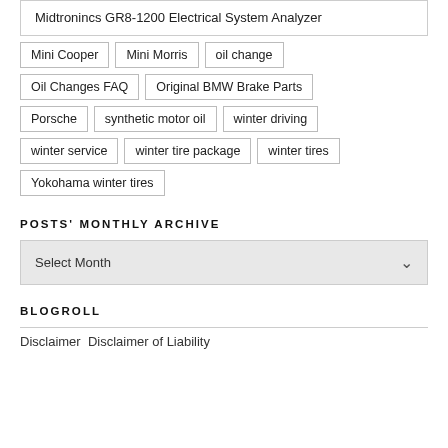Midtronincs GR8-1200 Electrical System Analyzer
Mini Cooper
Mini Morris
oil change
Oil Changes FAQ
Original BMW Brake Parts
Porsche
synthetic motor oil
winter driving
winter service
winter tire package
winter tires
Yokohama winter tires
POSTS' MONTHLY ARCHIVE
Select Month
BLOGROLL
Disclaimer Disclaimer of Liability